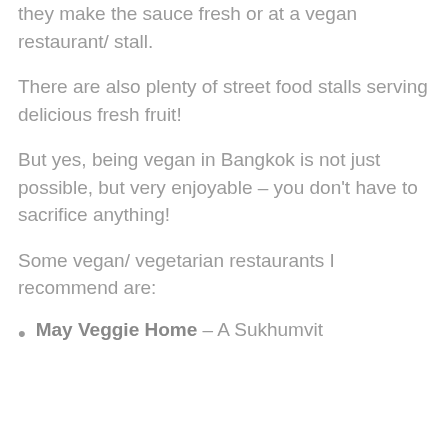they make the sauce fresh or at a vegan restaurant/ stall.
There are also plenty of street food stalls serving delicious fresh fruit!
But yes, being vegan in Bangkok is not just possible, but very enjoyable – you don't have to sacrifice anything!
Some vegan/ vegetarian restaurants I recommend are:
May Veggie Home – A Sukhumvit